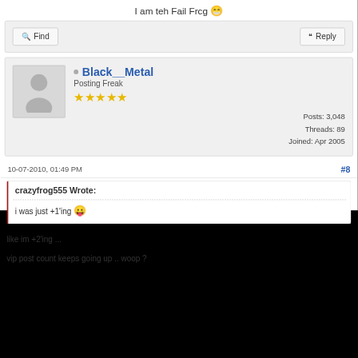I am teh Fail Frcg 😁
Find   Reply
Black__Metal
Posting Freak
★★★★★
Posts: 3,048
Threads: 89
Joined: Apr 2005
10-07-2010, 01:49 PM   #8
crazyfrog555 Wrote:
i was just +1'ing 😛
like im +2'ing ...
vip post count keeps going up .. woop ?